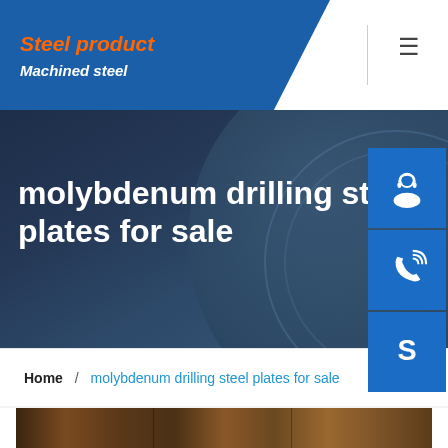Steel product / Machined steel
molybdenum drilling steel plates for sale
[Figure (screenshot): Three blue sidebar icon buttons: customer service (headset/person icon), phone/call icon, and Skype icon]
Home / molybdenum drilling steel plates for sale
[Figure (photo): Bottom strip showing industrial steel/manufacturing facility images]